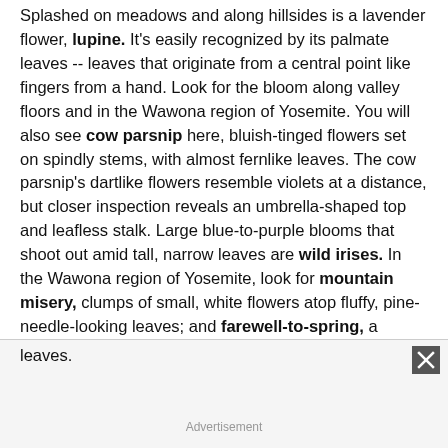Splashed on meadows and along hillsides is a lavender flower, lupine. It's easily recognized by its palmate leaves -- leaves that originate from a central point like fingers from a hand. Look for the bloom along valley floors and in the Wawona region of Yosemite. You will also see cow parsnip here, bluish-tinged flowers set on spindly stems, with almost fernlike leaves. The cow parsnip's dartlike flowers resemble violets at a distance, but closer inspection reveals an umbrella-shaped top and leafless stalk. Large blue-to-purple blooms that shoot out amid tall, narrow leaves are wild irises. In the Wawona region of Yosemite, look for mountain misery, clumps of small, white flowers atop fluffy, pine-needle-looking leaves; and farewell-to-spring, a whimsical pinkish flower with four large, fragile petals and small, slender leaves.